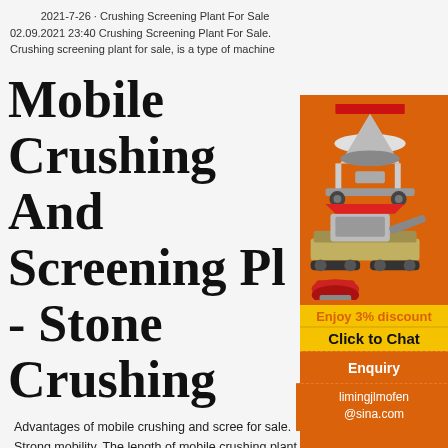2021-7-26 · Crushing Screening Plant For Sale
02.09.2021 23:40 Crushing Screening Plant For Sale. Crushing screening plant for sale, is a type of machine
Mobile Crushing And Screening Pl - Stone Crushing
Advantages of mobile crushing and scree for sale. Strong mobility. The length of mobile crushing plant is short, different crushing equi
[Figure (illustration): Orange sidebar advertisement showing multiple stone crushing and screening machines on orange background, with yellow 'Enjoy 3% discount' banner, 'Click to Chat' button, 'Enquiry' section, and email limingjlmofen@sina.com]
Used Stone Crusher for sale. Fabo equipment & mo
FABO STATIONARY TYPE 000-050 TH...